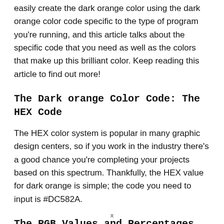easily create the dark orange color using the dark orange color code specific to the type of program you're running, and this article talks about the specific code that you need as well as the colors that make up this brilliant color. Keep reading this article to find out more!
The Dark orange Color Code: The HEX Code
The HEX color system is popular in many graphic design centers, so if you work in the industry there's a good chance you're completing your projects based on this spectrum. Thankfully, the HEX value for dark orange is simple; the code you need to input is #DC582A.
The RGB Values and Percentages for Dark orange
x